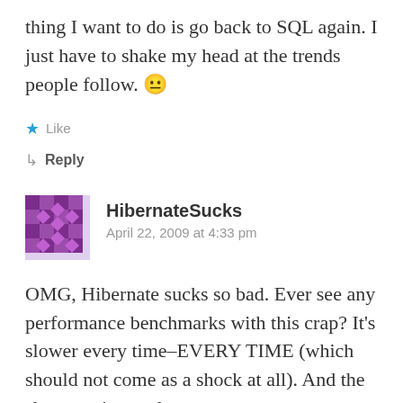thing I want to do is go back to SQL again. I just have to shake my head at the trends people follow. 😐
★ Like
↳ Reply
HibernateSucks
April 22, 2009 at 4:33 pm
OMG, Hibernate sucks so bad. Ever see any performance benchmarks with this crap? It's slower every time–EVERY TIME (which should not come as a shock at all). And the slowness is equal